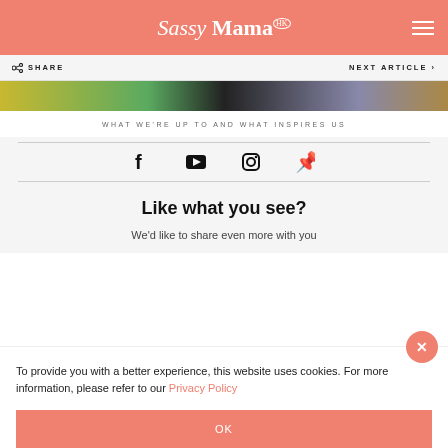Sassy Mama HK
SHARE  NEXT ARTICLE
[Figure (photo): Horizontal image strip showing colorful lifestyle photos]
WHAT WE'RE UP TO AND WHAT INSPIRES US
[Figure (infographic): Social media icons: Facebook, YouTube, Instagram, Pinterest]
Like what you see?
We'd like to share even more with you
To provide you with a better experience, this website uses cookies. For more information, please refer to our Privacy Policy
OK